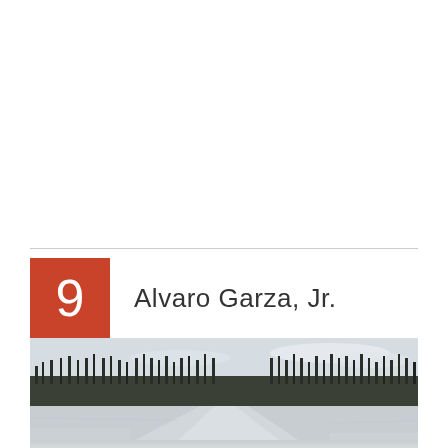9  Alvaro Garza, Jr.
[Figure (photo): Winter landscape photograph showing a frozen or snow-covered river or waterway with bare trees along the banks, taken under a pale winter sky. The scene shows snow on the ground and the river stretching into the distance.]